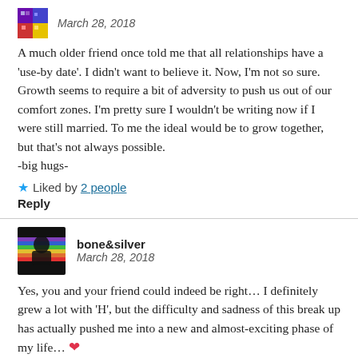March 28, 2018
A much older friend once told me that all relationships have a 'use-by date'. I didn't want to believe it. Now, I'm not so sure. Growth seems to require a bit of adversity to push us out of our comfort zones. I'm pretty sure I wouldn't be writing now if I were still married. To me the ideal would be to grow together, but that's not always possible.
-big hugs-
Liked by 2 people
Reply
bone&silver
March 28, 2018
Yes, you and your friend could indeed be right… I definitely grew a lot with 'H', but the difficulty and sadness of this break up has actually pushed me into a new and almost-exciting phase of my life… ❤